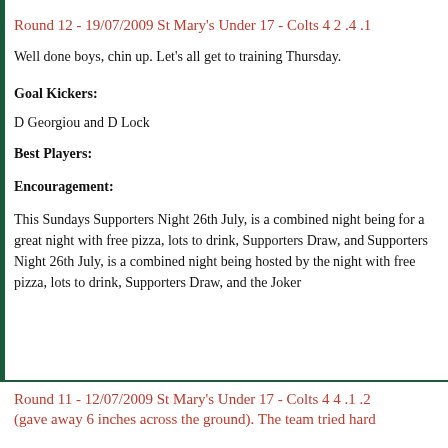Round 12 - 19/07/2009 St Mary's Under 17 - Colts 4 2 .4 .1
Well done boys, chin up. Let's all get to training Thursday.
Goal Kickers:
D Georgiou and D Lock
Best Players:
Encouragement:
This Sundays Supporters Night 26th July, is a combined night being hosted by the clubs for a great night with free pizza, lots to drink, Supporters Draw, and the Joker Draw. Supporters Night 26th July, is a combined night being hosted by the clubs for a great night with free pizza, lots to drink, Supporters Draw, and the Joker
Round 11 - 12/07/2009 St Mary's Under 17 - Colts 4 4 .1 .2 (gave away 6 inches across the ground). The team tried har